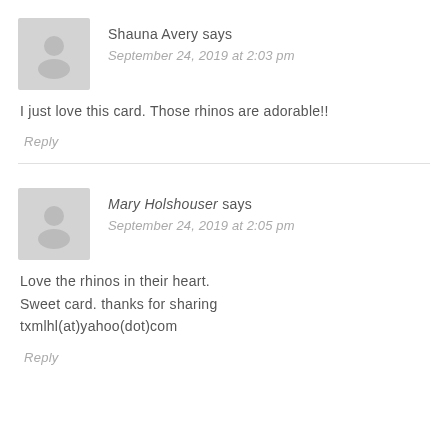Shauna Avery says
September 24, 2019 at 2:03 pm
I just love this card. Those rhinos are adorable!!
Reply
Mary Holshouser says
September 24, 2019 at 2:05 pm
Love the rhinos in their heart.
Sweet card. thanks for sharing
txmlhl(at)yahoo(dot)com
Reply